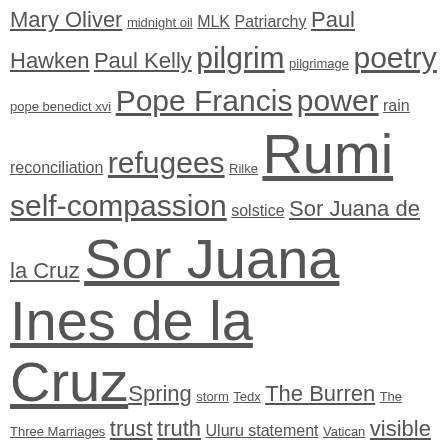Mary Oliver midnight oil MLK Patriarchy Paul Hawken Paul Kelly pilgrim pilgrimage poetry pope benedict xvi Pope Francis power rain reconciliation refugees Rilke Rumi self-compassion solstice Sor Juana de la Cruz Sor Juana Ines de la Cruz Spring storm Tedx The Burren The Three Marriages trust truth Uluru statement Vatican visible Wedding Willunga witness WOMADelaide women
No Instagram images were found.
https://www.instagram.com/moirawere/
Tweets from @MoiraWere
Moira Were AM @MoiraWere · 12h  Getting to know communities through